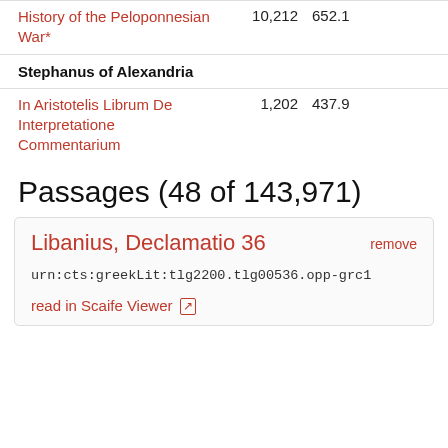| Work | Count | Score |
| --- | --- | --- |
| History of the Peloponnesian War* | 10,212 | 652.1 |
| Stephanus of Alexandria |  |  |
| In Aristotelis Librum De Interpretatione Commentarium | 1,202 | 437.9 |
Passages (48 of 143,971)
Libanius, Declamatio 36
urn:cts:greekLit:tlg2200.tlg00536.opp-grc1
read in Scaife Viewer